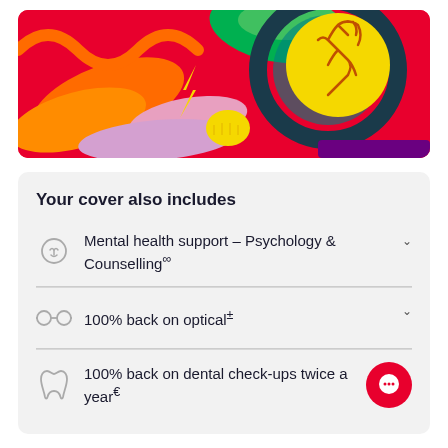[Figure (illustration): Colorful abstract illustration with brain, fist, lightning bolt on red background]
Your cover also includes
Mental health support – Psychology & Counselling∞
100% back on optical±
100% back on dental check-ups twice a year€
Ex